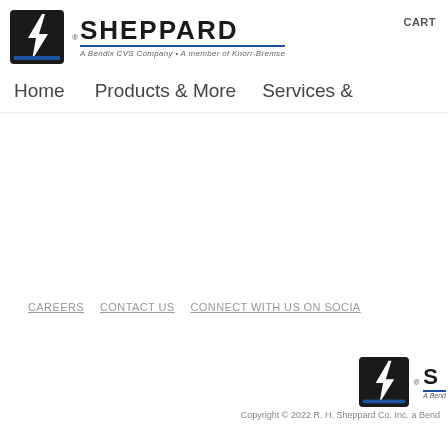[Figure (logo): Sheppard logo with lightning bolt S icon, wordmark SHEPPARD in bold black with blue underline, tagline 'A Bendix CVS Company • A member of Knorr-Bremse']
CART
Home    Products & More    Services &
CAREERS    CONTACT US    CONNECT WITH US ON SOCIAL
[Figure (logo): Small Sheppard logo with lightning bolt S icon and partial wordmark, Bendix tagline partial]
Copyright © 2022 R. H. Sheppard Co. Inc. a Bend